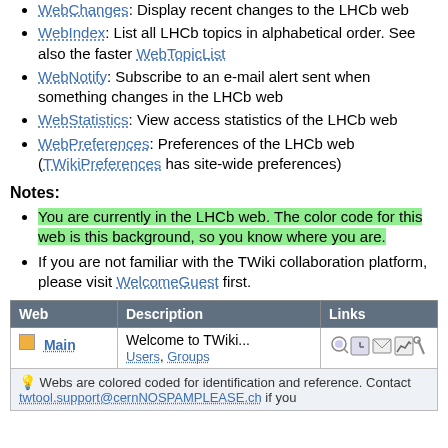WebChanges: Display recent changes to the LHCb web
WebIndex: List all LHCb topics in alphabetical order. See also the faster WebTopicList
WebNotify: Subscribe to an e-mail alert sent when something changes in the LHCb web
WebStatistics: View access statistics of the LHCb web
WebPreferences: Preferences of the LHCb web (TWikiPreferences has site-wide preferences)
Notes:
You are currently in the LHCb web. The color code for this web is this background, so you know where you are.
If you are not familiar with the TWiki collaboration platform, please visit WelcomeGuest first.
| Web | Description | Links |
| --- | --- | --- |
| Main | Welcome to TWiki...
Users, Groups | [icons] |
Webs are colored coded for identification and reference. Contact twtool.support@cernNOSPAMPLEASE.ch if you